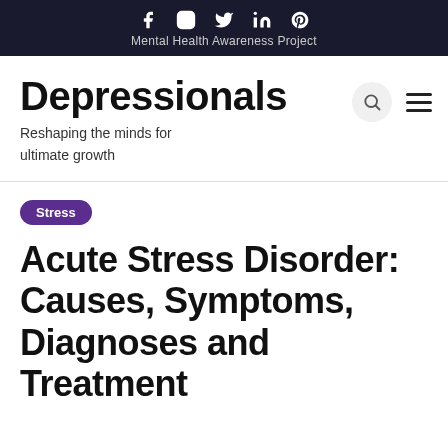Mental Health Awareness Project
Depressionals
Reshaping the minds for ultimate growth
Stress
Acute Stress Disorder: Causes, Symptoms, Diagnoses and Treatment